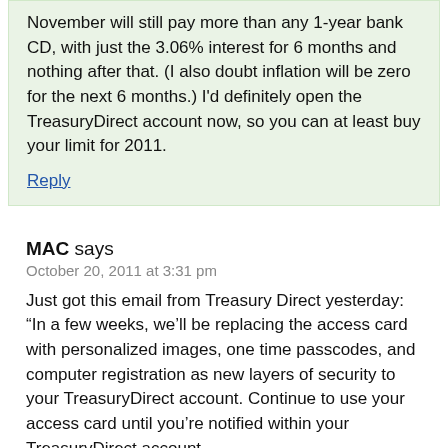November will still pay more than any 1-year bank CD, with just the 3.06% interest for 6 months and nothing after that. (I also doubt inflation will be zero for the next 6 months.) I'd definitely open the TreasuryDirect account now, so you can at least buy your limit for 2011.
Reply
MAC says
October 20, 2011 at 3:31 pm
Just got this email from Treasury Direct yesterday: “In a few weeks, we’ll be replacing the access card with personalized images, one time passcodes, and computer registration as new layers of security to your TreasuryDirect account. Continue to use your access card until you’re notified within your TreasuryDirect account.”